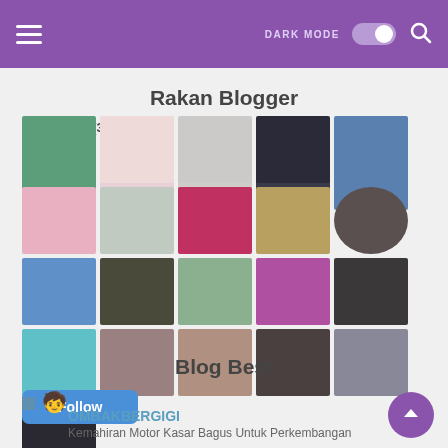DARK MODE (toggle) [search icon]
Rakan Blogger
Followers (3066) Next
[Figure (photo): Grid of 21 follower profile photos/avatars in three rows]
Follow
Blog Best
OMBAKBERGIGI
Kemahiran Motor Kasar Bagus Untuk Perkembangan